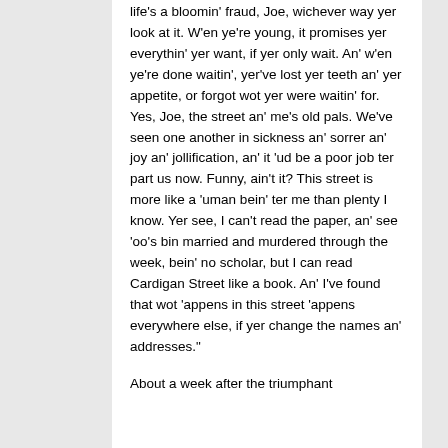life's a bloomin' fraud, Joe, wichever way yer look at it. W'en ye're young, it promises yer everythin' yer want, if yer only wait. An' w'en ye're done waitin', yer've lost yer teeth an' yer appetite, or forgot wot yer were waitin' for. Yes, Joe, the street an' me's old pals. We've seen one another in sickness an' sorrer an' joy an' jollification, an' it 'ud be a poor job ter part us now. Funny, ain't it? This street is more like a 'uman bein' ter me than plenty I know. Yer see, I can't read the paper, an' see 'oo's bin married and murdered through the week, bein' no scholar, but I can read Cardigan Street like a book. An' I've found that wot 'appens in this street 'appens everywhere else, if yer change the names an' addresses."
About a week after the triumphant